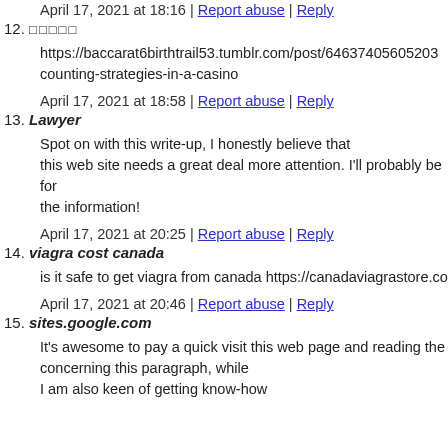April 17, 2021 at 18:16 | Report abuse | Reply
12. ■■■■■
https://baccarat6birthtrail53.tumblr.com/post/64637405605203... counting-strategies-in-a-casino
April 17, 2021 at 18:58 | Report abuse | Reply
13. Lawyer
Spot on with this write-up, I honestly believe that this web site needs a great deal more attention. I'll probably be for the information!
April 17, 2021 at 20:25 | Report abuse | Reply
14. viagra cost canada
is it safe to get viagra from canada https://canadaviagrastore.co...
April 17, 2021 at 20:46 | Report abuse | Reply
15. sites.google.com
It's awesome to pay a quick visit this web page and reading the... concerning this paragraph, while I am also keen of getting know-how